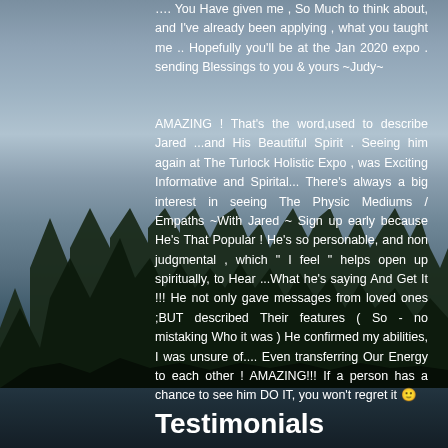…. You Have given me , So Much to think about, and I've already been applying , what you taught me .. Hopefully you'll be at the Jan 2020 expo . sending Blessings to you & yours ~Judy~
AMAZING ! That's the word,used to describe Jared ...and His Beautiful Spirit . Seeing him again at The Turlock Holistic Expo , was Exciting Informative and Spirital... There's always a big interest in seeing The Physic Mediums / Empaths ~With Jared ~ Sign up early because He's That Popular ! He's so personable, and non judgmental , which " I feel " helps open up spiritually, to Hear ...What he's saying And Get It !!! He not only gave messages from loved ones ;BUT described Their features ( So - no mistaking Who it was ) He confirmed my abilities, I was unsure of.... Even transferring Our Energy to each other ! AMAZING!!! If a person has a chance to see him DO IT, you won't regret it 🙂
Testimonials